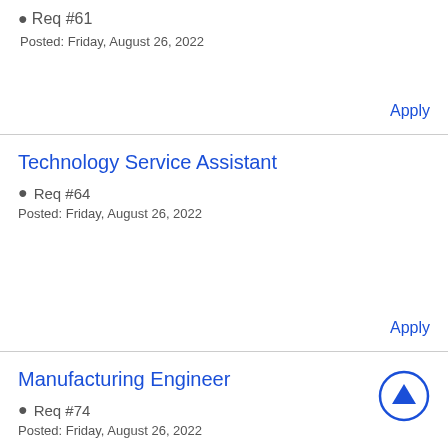Req #61
Posted: Friday, August 26, 2022
Apply
Technology Service Assistant
Req #64
Posted: Friday, August 26, 2022
Apply
Manufacturing Engineer
Req #74
Posted: Friday, August 26, 2022